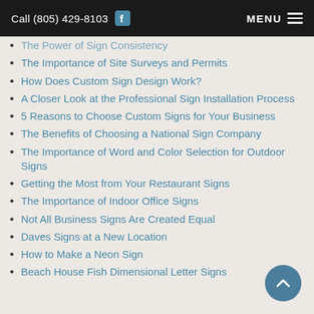Call (805) 429-8103  [Facebook icon]  MENU
The Power of Sign Consistency
The Importance of Site Surveys and Permits
How Does Custom Sign Design Work?
A Closer Look at the Professional Sign Installation Process
5 Reasons to Choose Custom Signs for Your Business
The Benefits of Choosing a National Sign Company
The Importance of Word and Color Selection for Outdoor Signs
Getting the Most from Your Restaurant Signs
The Importance of Indoor Office Signs
Not All Business Signs Are Created Equal
Daves Signs at a New Location
How to Make a Neon Sign
Beach House Fish Dimensional Letter Signs